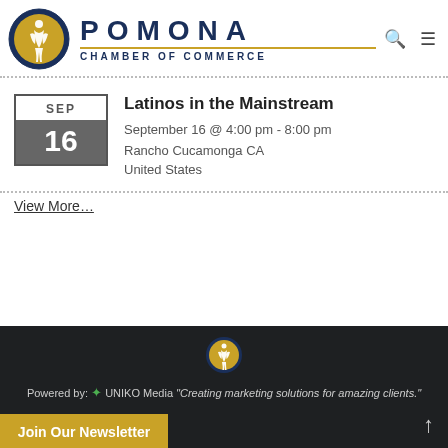[Figure (logo): Pomona Chamber of Commerce logo with circular yellow and blue emblem and text POMONA CHAMBER OF COMMERCE]
Latinos in the Mainstream
September 16 @ 4:00 pm - 8:00 pm
Rancho Cucamonga CA
United States
View More…
Powered by: UNIKO Media "Creating marketing solutions for amazing clients." Join Our Newsletter